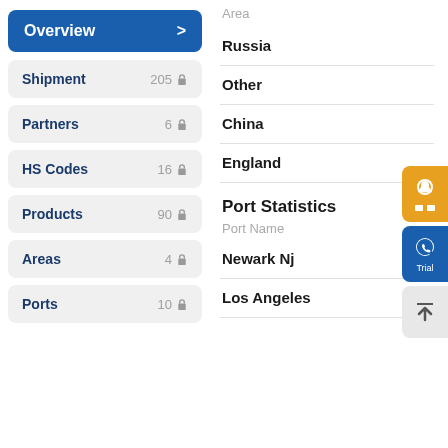Overview >
Shipment 205 🔒
Partners 6 🔒
HS Codes 16 🔒
Products 90 🔒
Areas 4 🔒
Ports 10 🔒
Area
Russia
Other
China
England
Port Statistics
Port Name
Newark Nj
Los Angeles